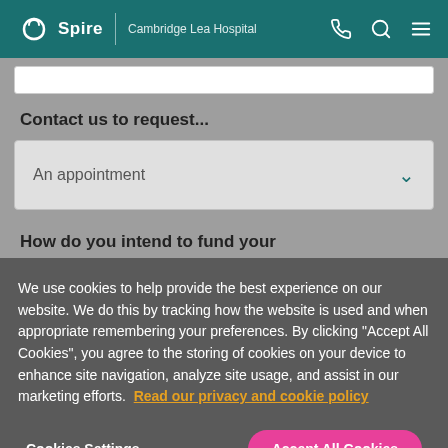Spire | Cambridge Lea Hospital
Contact us to request...
An appointment
How do you intend to fund your
We use cookies to help provide the best experience on our website. We do this by tracking how the website is used and when appropriate remembering your preferences. By clicking "Accept All Cookies", you agree to the storing of cookies on your device to enhance site navigation, analyze site usage, and assist in our marketing efforts. Read our privacy and cookie policy
Cookies Settings
Accept All Cookies